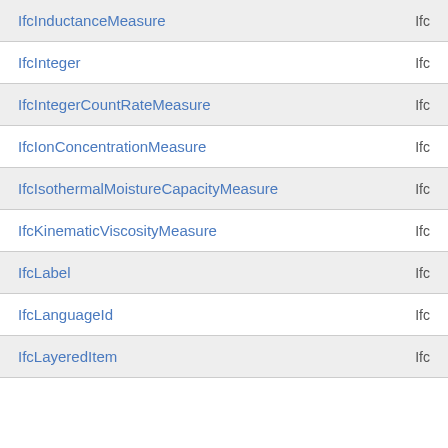| Name | Type |
| --- | --- |
| IfcInductanceMeasure | Ifc… |
| IfcInteger | Ifc… |
| IfcIntegerCountRateMeasure | Ifc… |
| IfcIonConcentrationMeasure | Ifc… |
| IfcIsothermalMoistureCapacityMeasure | Ifc… |
| IfcKinematicViscosityMeasure | Ifc… |
| IfcLabel | Ifc… |
| IfcLanguageId | Ifc… |
| IfcLayeredItem | Ifc… |